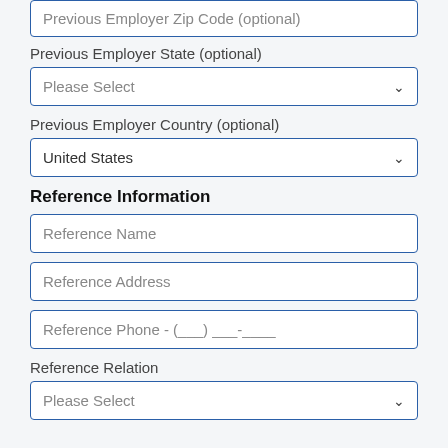Previous Employer Zip Code (optional)
Previous Employer State (optional)
Please Select
Previous Employer Country (optional)
United States
Reference Information
Reference Name
Reference Address
Reference Phone - (___) ___-____
Reference Relation
Please Select